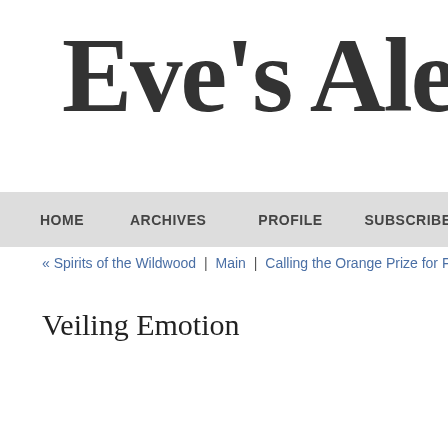Eve's Alexa
HOME | ARCHIVES | PROFILE | SUBSCRIBE
« Spirits of the Wildwood | Main | Calling the Orange Prize for Ficti
Veiling Emotion